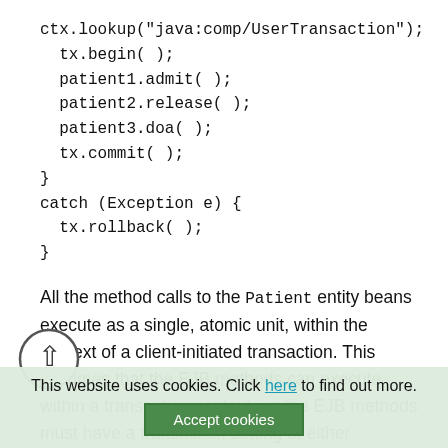ctx.lookup("java:comp/UserTransaction");
  tx.begin( );
  patient1.admit( );
  patient2.release( );
  patient3.doa( );
  tx.commit( );
}
catch (Exception e) {
  tx.rollback( );
}
All the method calls to the Patient entity beans execute as a single, atomic unit, within the context of a client-initiated transaction. This assumes that the EJB methods can execute within a transaction context, so the EJB methods must have a transaction setting of either Required, Supports, or Mandatory. The EJBs involved in the... regardless of whether the EJBs are targeted as a single...